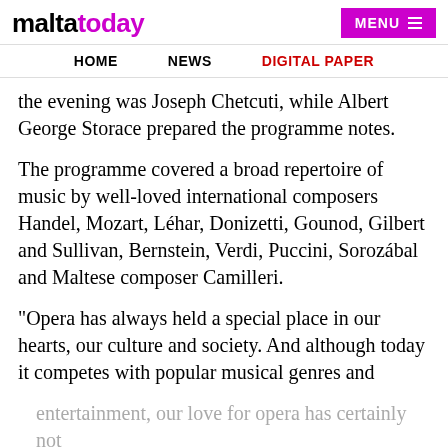maltatoday | MENU
HOME   NEWS   DIGITAL PAPER
the evening was Joseph Chetcuti, while Albert George Storace prepared the programme notes.
The programme covered a broad repertoire of music by well-loved international composers Handel, Mozart, Léhar, Donizetti, Gounod, Gilbert and Sullivan, Bernstein, Verdi, Puccini, Sorozábal and Maltese composer Camilleri.
“Opera has always held a special place in our hearts, our culture and society. And although today it competes with popular musical genres and entertainment, our love for opera has certainly not dimm...
[Figure (other): SOFTSWISS advertisement banner with diamond logo icons and text YOUR WINNING COMBINATION IN IGAMING]